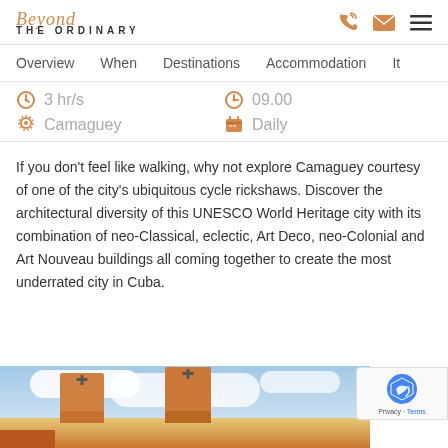Beyond THE ORDINARY
Overview   When   Destinations   Accommodation   It
3 hr/s   09.00   Camaguey   Daily
If you don't feel like walking, why not explore Camaguey courtesy of one of the city's ubiquitous cycle rickshaws. Discover the architectural diversity of this UNESCO World Heritage city with its combination of neo-Classical, eclectic, Art Deco, neo-Colonial and Art Nouveau buildings all coming together to create the most underrated city in Cuba.
[Figure (photo): Photo of Camaguey church towers with terracotta-colored bell towers against a blue sky with white clouds]